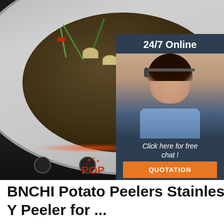[Figure (photo): Product listing photo showing a stainless steel wok with food (clams, green beans, peppers) on an induction cooktop. A red circular price badge showing '26/' is partially visible. A 24/7 online chat widget is overlaid on the right side showing a customer service representative with a headset, 'Click here for free chat!' text, and an orange QUOTATION button.]
BNCHI Potato Peelers Stainless Y Peeler for ...
Y Serrated Peeler. £7.99. Enhance your purchase. Made from supreme stainless steel,sharp blade can do peeling job with. Human factor designed large handle offer you using it in very comfort way. Easy peeling for potato, pears, carrots, cucumbers, fruit and vegetables. Dishwasher-safe,built-in potato eye remover.